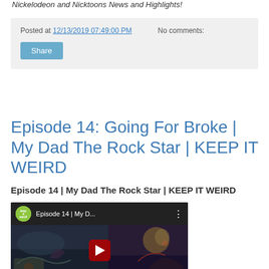Nickelodeon and Nicktoons News and Highlights!
Posted at 12/13/2019 07:49:00 PM   No comments:
Episode 14: Going For Broke | My Dad The Rock Star | KEEP IT WEIRD
Episode 14 | My Dad The Rock Star | KEEP IT WEIRD
[Figure (screenshot): YouTube video thumbnail for 'Episode 14 | My D...' from the Keep It Weird channel, showing animated characters with a red YouTube play button overlay.]